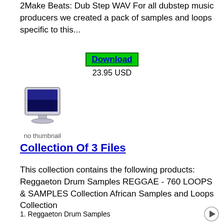2Make Beats: Dub Step WAV For all dubstep music producers we created a pack of samples and loops specific to this...
Download
23.95 USD
[Figure (illustration): Computer monitor icon with 'no thumbnail' label below]
Collection Of 3 Files
This collection contains the following products: Reggaeton Drum Samples REGGAE - 760 LOOPS & SAMPLES Collection African Samples and Loops Collection
1. Reggaeton Drum Samples